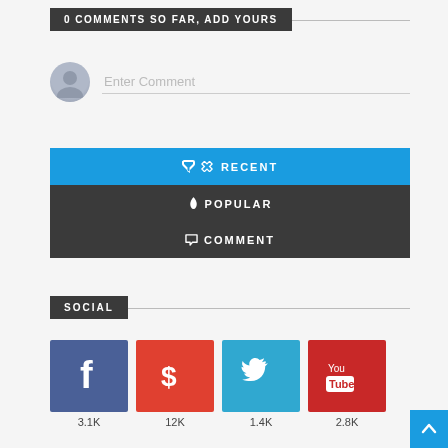0 COMMENTS SO FAR, ADD YOURS
Enter Comment
RECENT
POPULAR
COMMENT
SOCIAL
3.1K
12K
1.4K
2.8K